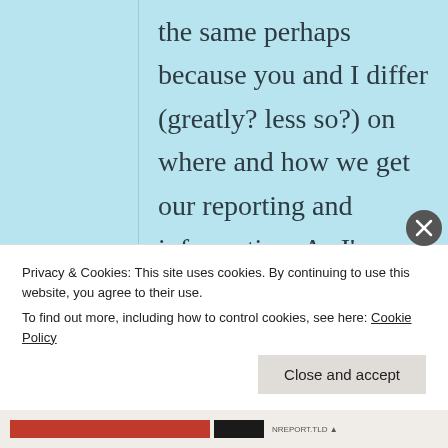the same perhaps because you and I differ (greatly? less so?) on where and how we get our reporting and information. As I'm sure you are aware, there is an overload of biased
Privacy & Cookies: This site uses cookies. By continuing to use this website, you agree to their use. To find out more, including how to control cookies, see here: Cookie Policy
Close and accept